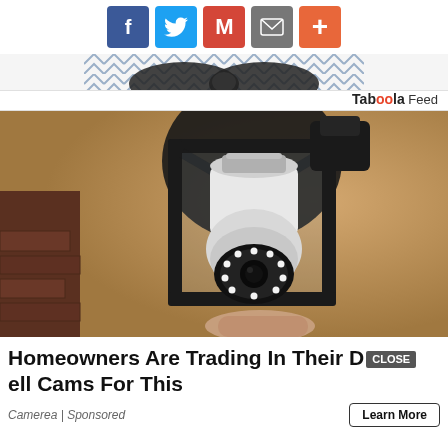[Figure (other): Social sharing buttons row: Facebook (blue), Twitter (light blue), Gmail (red), Email (gray), Plus/More (orange-red)]
[Figure (other): Decorative top partial image with chevron/bow pattern on gray background]
Taboola Feed
[Figure (photo): A light-bulb security camera mounted inside a black outdoor lantern fixture, attached to a textured stucco wall. A hand is holding/installing the white dome camera with LED ring.]
Homeowners Are Trading In Their Doorbell Cams For This
Camerea | Sponsored
Learn More